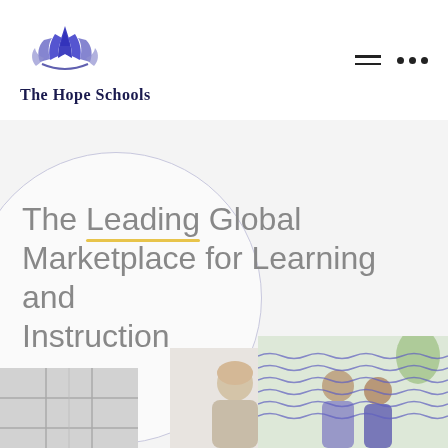[Figure (logo): The Hope Schools logo — a stylized blue and purple lotus/crown flower icon above the text 'The Hope Schools' in dark navy bold serif font]
The Leading Global Marketplace for Learning and Instruction
[Figure (photo): Bottom section showing partial photos of students and a classroom/building, with decorative blue wavy lines overlay on the right side]